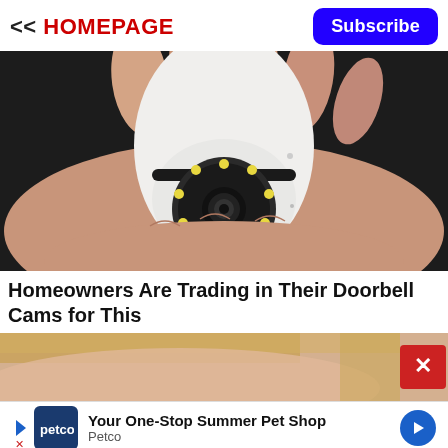<< HOMEPAGE
Subscribe
[Figure (photo): A hand holding a white bulb-shaped security camera with LED ring and lens, shown against a dark background.]
Homeowners Are Trading in Their Doorbell Cams for This
[Figure (photo): Partial view of a person's face (blonde hair visible), with a red X close button on the right side.]
Your One-Stop Summer Pet Shop Petco